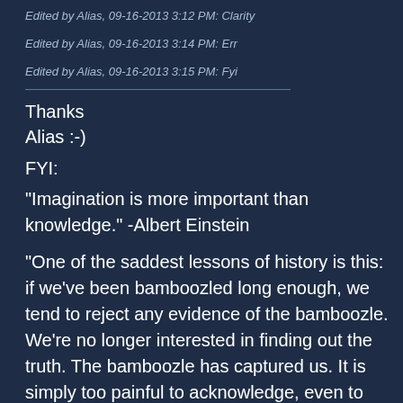Edited by Alias, 09-16-2013 3:12 PM: Clarity
Edited by Alias, 09-16-2013 3:14 PM: Err
Edited by Alias, 09-16-2013 3:15 PM: Fyi
Thanks
Alias :-)
FYI:
"Imagination is more important than knowledge." -Albert Einstein
"One of the saddest lessons of history is this: if we've been bamboozled long enough, we tend to reject any evidence of the bamboozle. We're no longer interested in finding out the truth. The bamboozle has captured us. It is simply too painful to acknowledge, even to ourselves, that we've been taken. Once you give a charlatan power over you, you almost never get it back" - Carl Sagan -Demon Haunted World
"The whole history of science has been the...